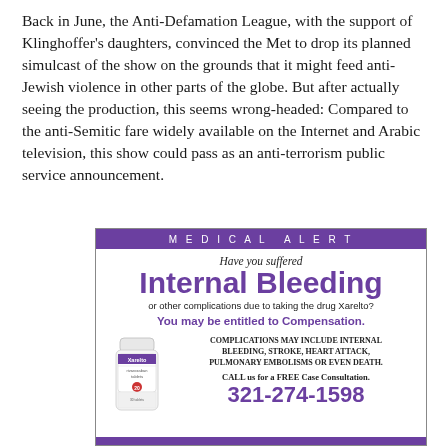Back in June, the Anti-Defamation League, with the support of Klinghoffer's daughters, convinced the Met to drop its planned simulcast of the show on the grounds that it might feed anti-Jewish violence in other parts of the globe. But after actually seeing the production, this seems wrong-headed: Compared to the anti-Semitic fare widely available on the Internet and Arabic television, this show could pass as an anti-terrorism public service announcement.
[Figure (infographic): Medical alert advertisement for Xarelto internal bleeding lawsuit. Purple header reading MEDICAL ALERT. Text: Have you suffered Internal Bleeding or other complications due to taking the drug Xarelto? You may be entitled to Compensation. COMPLICATIONS MAY INCLUDE INTERNAL BLEEDING, STROKE, HEART ATTACK, PULMONARY EMBOLISMS OR EVEN DEATH. CALL us for a FREE Case Consultation. 321-274-1598. Image of Xarelto pill bottle.]